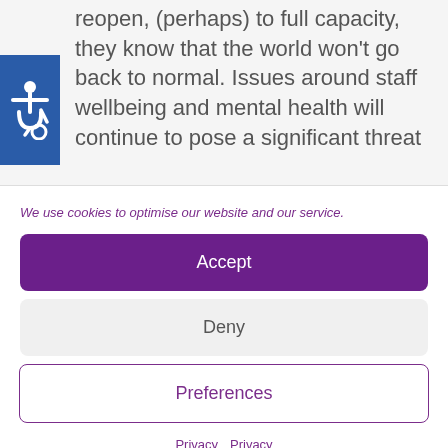reopen, (perhaps) to full capacity, they know that the world won't go back to normal. Issues around staff wellbeing and mental health will continue to pose a significant threat
We use cookies to optimise our website and our service.
Accept
Deny
Preferences
Privacy  Privacy